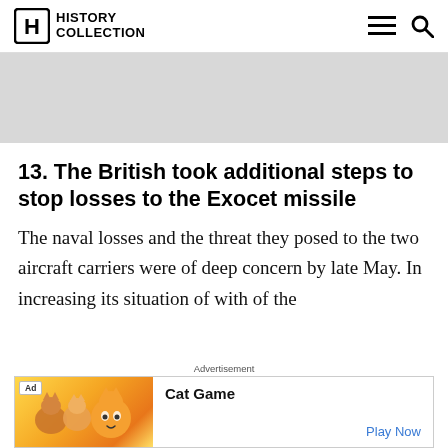History Collection
[Figure (other): Gray advertisement banner placeholder]
13. The British took additional steps to stop losses to the Exocet missile
The naval losses and the threat they posed to the two aircraft carriers were of deep concern by late May. In increasing its situation of with of the
[Figure (other): Advertisement banner: Cat Game mobile game ad with colorful cartoon cat characters and Play Now button]